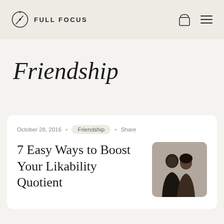FULL FOCUS
Friendship
October 28, 2016  •  Friendship  •  Share
7 Easy Ways to Boost Your Likability Quotient
[Figure (photo): Two people close together, one whispering to the other, black and white tones]